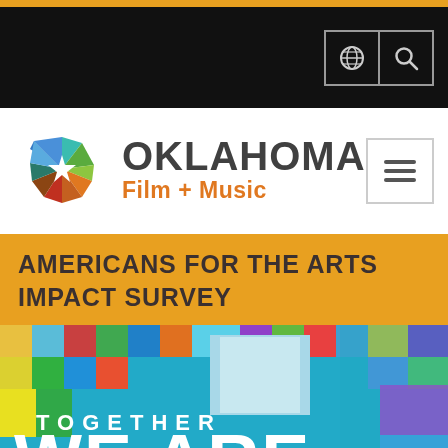Oklahoma Film + Music
[Figure (logo): Oklahoma Film + Music logo with colorful star/pinwheel icon and text 'OKLAHOMA Film + Music']
AMERICANS FOR THE ARTS IMPACT SURVEY
[Figure (photo): Americans for the Arts promotional image with colorful mosaic grid background and text 'TOGETHER WE ARE AMERICANS FOR THE ARTS']